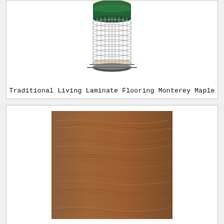[Figure (photo): Wire mesh cylindrical bird feeder with green top, containing seed, partially cut off at top]
Traditional Living Laminate Flooring Monterey Maple
[Figure (photo): Close-up photo of brown wood-grain laminate flooring sample, Monterey Maple]